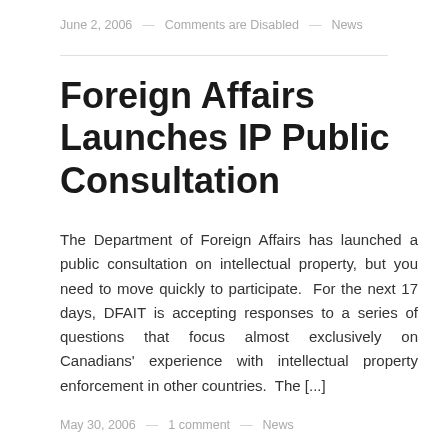June 2, 2006 — Comments are Disabled — News
Foreign Affairs Launches IP Public Consultation
The Department of Foreign Affairs has launched a public consultation on intellectual property, but you need to move quickly to participate.  For the next 17 days, DFAIT is accepting responses to a series of questions that focus almost exclusively on Canadians' experience with intellectual property enforcement in other countries.  The [...]
Read more ›
May 30, 2006 — 1 comment — News